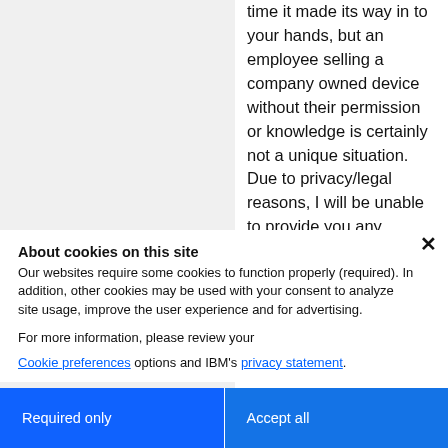time it made its way in to your hands, but an employee selling a company owned device without their permission or knowledge is certainly not a unique situation.
Due to privacy/legal reasons, I will be unable to provide you any information about that device or the company that owns it, our hands are tied there.
You essentially have three courses of
About cookies on this site
Our websites require some cookies to function properly (required). In addition, other cookies may be used with your consent to analyze site usage, improve the user experience and for advertising.
For more information, please review your Cookie preferences options and IBM's privacy statement.